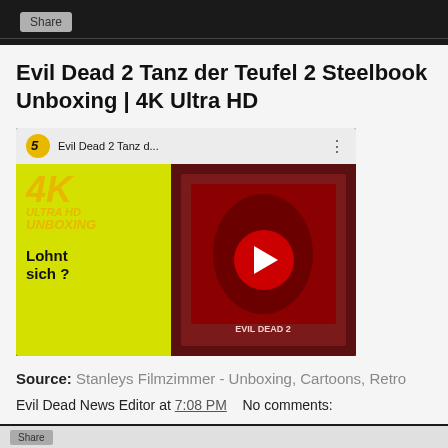Share
Evil Dead 2 Tanz der Teufel 2 Steelbook Unboxing | 4K Ultra HD
[Figure (screenshot): YouTube video thumbnail for Evil Dead 2 Tanz der Teufel 2 Steelbook Unboxing 4K Ultra HD. Left side shows yellow background with '4K ULTRA HD UNBOXING' text and 'Lohnt sich?' in black. Right side shows steelbook cover art with horror illustration. Red play button in center. Top bar shows YouTube-style header with title 'Evil Dead 2 Tanz d...']
Source: Stanleys Filmzimmer - Unboxing, Cartoons, Retro
Evil Dead News Editor at 7:08 PM   No comments:
Share